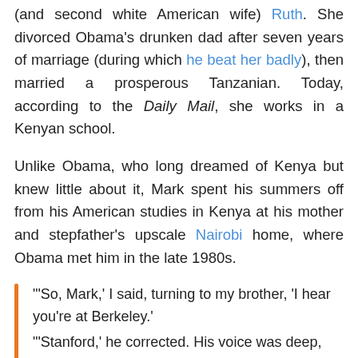(and second white American wife) Ruth. She divorced Obama's drunken dad after seven years of marriage (during which he beat her badly), then married a prosperous Tanzanian. Today, according to the Daily Mail, she works in a Kenyan school.
Unlike Obama, who long dreamed of Kenya but knew little about it, Mark spent his summers off from his American studies in Kenya at his mother and stepfather's upscale Nairobi home, where Obama met him in the late 1980s.
'"So, Mark,' I said, turning to my brother, 'I hear you're at Berkeley.' "'Stanford,' he corrected. His voice was deep, his accent perfectly American. 'I'm in my last year of the physics program there.'"'